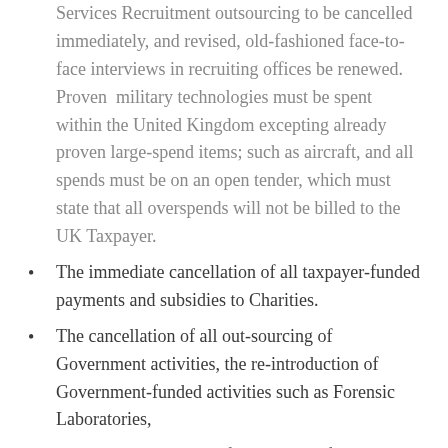Services Recruitment outsourcing to be cancelled immediately, and revised, old-fashioned face-to-face interviews in recruiting offices be renewed. Proven military technologies must be spent within the United Kingdom excepting already proven large-spend items; such as aircraft, and all spends must be on an open tender, which must state that all overspends will not be billed to the UK Taxpayer.
The immediate cancellation of all taxpayer-funded payments and subsidies to Charities.
The cancellation of all out-sourcing of Government activities, the re-introduction of Government-funded activities such as Forensic Laboratories,
The absolute removal of all taxpayer-funded Quasi Autonomous Non-Governmental Organisations (QUANGOs); with the exceptions of the Nuclear Power Authority, the Arts Council and the Food